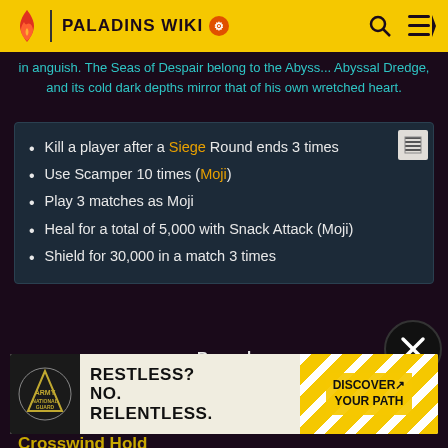PALADINS WIKI
in anguish. The Seas of Despair belong to the Abyss... Abyssal Dredge, and its cold dark depths mirror that of his own wretched heart.
Kill a player after a Siege Round ends 3 times
Use Scamper 10 times (Moji)
Play 3 matches as Moji
Heal for a total of 5,000 with Snack Attack (Moji)
Shield for 30,000 in a match 3 times
Reward
[Figure (other): Reward item thumbnail - blue crystal/gem image]
Crystals
[Figure (other): Army National Guard advertisement - RESTLESS? NO. RELENTLESS. DISCOVER YOUR PATH]
Crosswind Hold